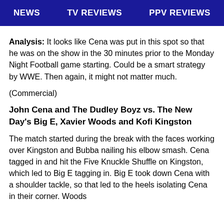NEWS   TV REVIEWS   PPV REVIEWS
Analysis: It looks like Cena was put in this spot so that he was on the show in the 30 minutes prior to the Monday Night Football game starting. Could be a smart strategy by WWE. Then again, it might not matter much.
(Commercial)
John Cena and The Dudley Boyz vs. The New Day's Big E, Xavier Woods and Kofi Kingston
The match started during the break with the faces working over Kingston and Bubba nailing his elbow smash. Cena tagged in and hit the Five Knuckle Shuffle on Kingston, which led to Big E tagging in. Big E took down Cena with a shoulder tackle, so that led to the heels isolating Cena in their corner. Woods